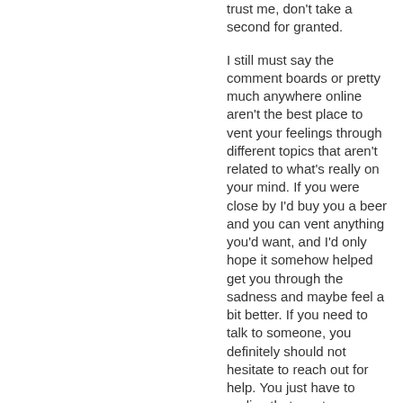trust me, don't take a second for granted.
I still must say the comment boards or pretty much anywhere online aren't the best place to vent your feelings through different topics that aren't related to what's really on your mind. If you were close by I'd buy you a beer and you can vent anything you'd want, and I'd only hope it somehow helped get you through the sadness and maybe feel a bit better. If you need to talk to someone, you definitely should not hesitate to reach out for help. You just have to realise that most